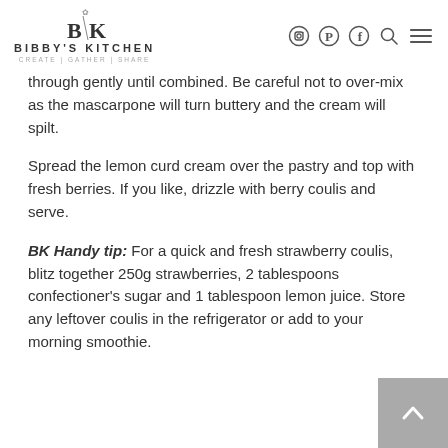Bibby's Kitchen | CREATE | GATHER | SHARE
through gently until combined. Be careful not to over-mix as the mascarpone will turn buttery and the cream will spilt.
Spread the lemon curd cream over the pastry and top with fresh berries. If you like, drizzle with berry coulis and serve.
BK Handy tip: For a quick and fresh strawberry coulis, blitz together 250g strawberries, 2 tablespoons confectioner's sugar and 1 tablespoon lemon juice. Store any leftover coulis in the refrigerator or add to your morning smoothie.
[Figure (other): Back to top button (grey square with white upward chevron arrow)]